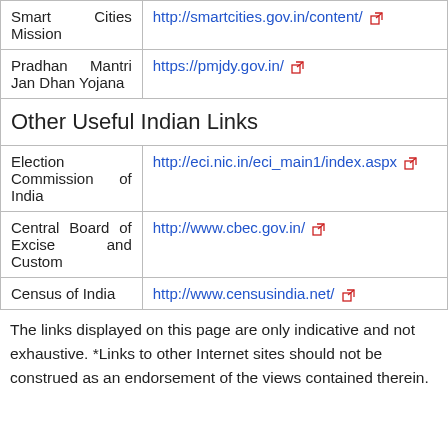|  |  |
| --- | --- |
| Smart Cities Mission | http://smartcities.gov.in/content/ |
| Pradhan Mantri Jan Dhan Yojana | https://pmjdy.gov.in/ |
| Other Useful Indian Links |  |
| Election Commission of India | http://eci.nic.in/eci_main1/index.aspx |
| Central Board of Excise and Custom | http://www.cbec.gov.in/ |
| Census of India | http://www.censusindia.net/ |
The links displayed on this page are only indicative and not exhaustive. *Links to other Internet sites should not be construed as an endorsement of the views contained therein.